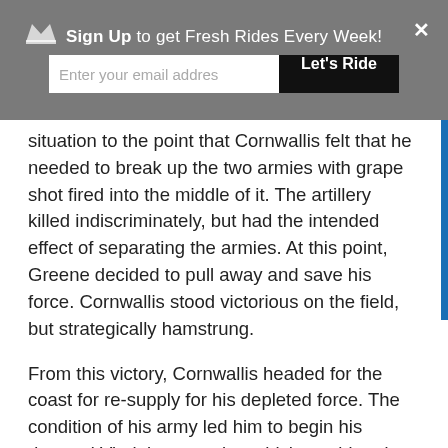[Figure (screenshot): Email signup banner overlay with crown icon, text 'Sign Up to get Fresh Rides Every Week!', email input field reading 'Enter your email addres', a black 'Let's Ride' button, and a white X close button on a gray background.]
situation to the point that Cornwallis felt that he needed to break up the two armies with grape shot fired into the middle of it. The artillery killed indiscriminately, but had the intended effect of separating the armies. At this point, Greene decided to pull away and save his force. Cornwallis stood victorious on the field, but strategically hamstrung.
From this victory, Cornwallis headed for the coast for re-supply for his depleted force. The condition of his army led him to begin his doomed Virginia campaign which would end later in the year with his surrender at Yorktown.
Motorcycle Ride Recommendation
Check out this ride that leads to the Guilford